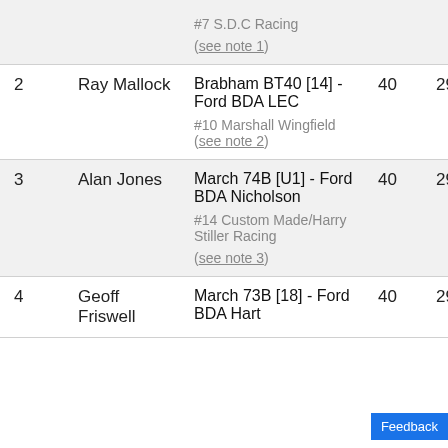| Pos | Driver | Car / Team | Laps | Time |
| --- | --- | --- | --- | --- |
|  |  | #7 S.D.C Racing (see note 1) |  |  |
| 2 | Ray Mallock | Brabham BT40 [14] - Ford BDA LEC
#10 Marshall Wingfield (see note 2) | 40 | 29m 43.8s |
| 3 | Alan Jones | March 74B [U1] - Ford BDA Nicholson
#14 Custom Made/Harry Stiller Racing (see note 3) | 40 | 29m 52.2s |
| 4 | Geoff Friswell | March 73B [18] - Ford BDA Hart | 40 | 29m 55.4s |